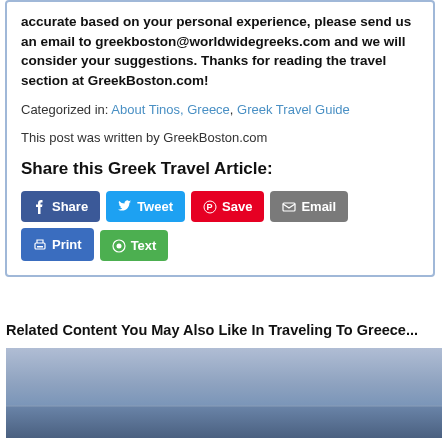accurate based on your personal experience, please send us an email to greekboston@worldwidegreeks.com and we will consider your suggestions. Thanks for reading the travel section at GreekBoston.com!
Categorized in: About Tinos, Greece, Greek Travel Guide
This post was written by GreekBoston.com
Share this Greek Travel Article:
Share | Tweet | Save | Email | Print | Text
Related Content You May Also Like In Traveling To Greece...
[Figure (photo): A photo of a Greek seascape showing calm blue-grey water and hazy sky]